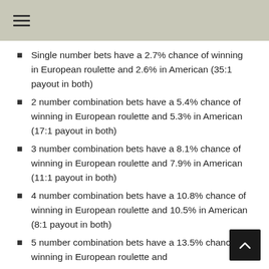Single number bets have a 2.7% chance of winning in European roulette and 2.6% in American (35:1 payout in both)
2 number combination bets have a 5.4% chance of winning in European roulette and 5.3% in American (17:1 payout in both)
3 number combination bets have a 8.1% chance of winning in European roulette and 7.9% in American (11:1 payout in both)
4 number combination bets have a 10.8% chance of winning in European roulette and 10.5% in American (8:1 payout in both)
5 number combination bets have a 13.5% chance of winning in European roulette and